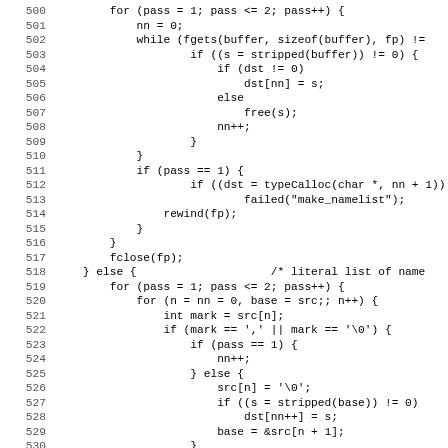[Figure (screenshot): Source code listing showing C code lines 500-531, with line numbers on the left and code on the right in monospace font. The code shows a function with nested for/while loops handling file reading and name list construction.]